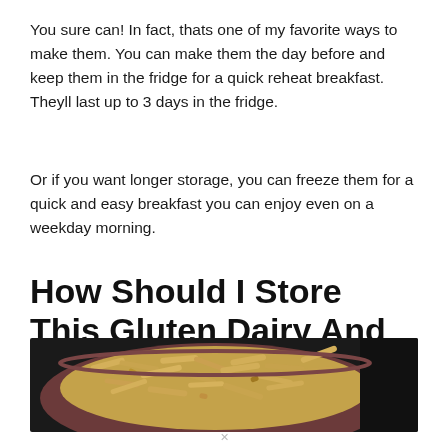You sure can! In fact, thats one of my favorite ways to make them. You can make them the day before and keep them in the fridge for a quick reheat breakfast. Theyll last up to 3 days in the fridge.
Or if you want longer storage, you can freeze them for a quick and easy breakfast you can enjoy even on a weekday morning.
How Should I Store This Gluten Dairy And Egg Free White Bread
[Figure (photo): A bowl filled with pasta or macaroni, viewed from above at an angle, against a dark background.]